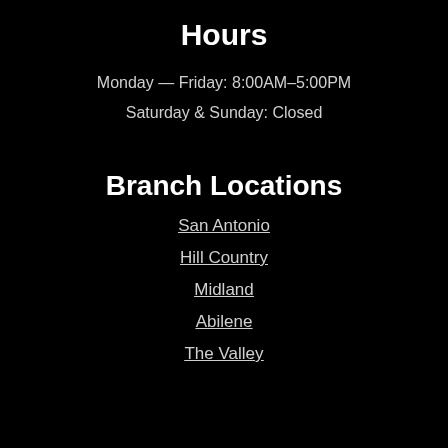Hours
Monday — Friday: 8:00AM–5:00PM
Saturday & Sunday: Closed
Branch Locations
San Antonio
Hill Country
Midland
Abilene
The Valley